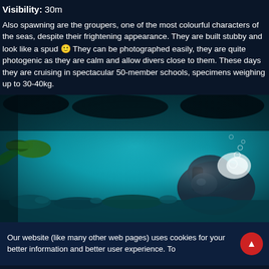Visibility: 30m
Also spawning are the groupers, one of the most colourful characters of the seas, despite their frightening appearance. They are built stubby and look like a spud 🙂 They can be photographed easily, they are quite photogenic as they are calm and allow divers close to them. These days they are cruising in spectacular 50-member schools, specimens weighing up to 30-40kg.
[Figure (photo): Underwater photo of two scuba divers swimming near a coral reef in clear blue-green water, with one diver's bubbles visible on the right side.]
Our website (like many other web pages) uses cookies for your better information and better user experience. To